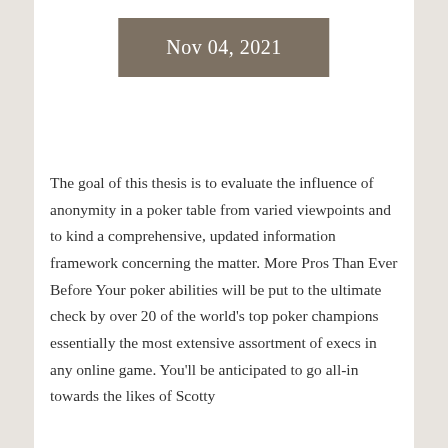Nov 04, 2021
The goal of this thesis is to evaluate the influence of anonymity in a poker table from varied viewpoints and to kind a comprehensive, updated information framework concerning the matter. More Pros Than Ever Before Your poker abilities will be put to the ultimate check by over 20 of the world's top poker champions essentially the most extensive assortment of execs in any online game. You'll be anticipated to go all-in towards the likes of Scotty